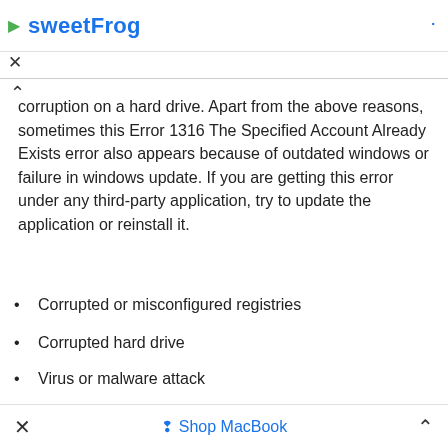sweetFrog
corruption on a hard drive. Apart from the above reasons, sometimes this Error 1316 The Specified Account Already Exists error also appears because of outdated windows or failure in windows update. If you are getting this error under any third-party application, try to update the application or reinstall it.
Corrupted or misconfigured registries
Corrupted hard drive
Virus or malware attack
Outdated windows
Corrupted program files
× Shop MacBook ^